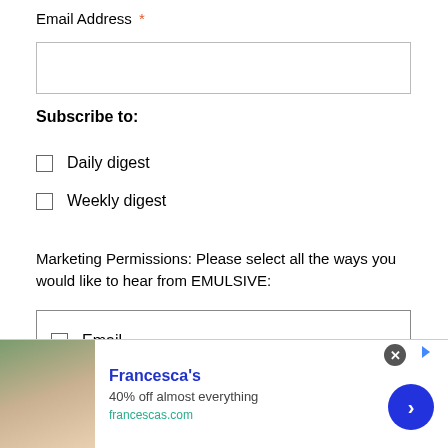Email Address *
[email input field]
Subscribe to:
Daily digest
Weekly digest
Marketing Permissions: Please select all the ways you would like to hear from EMULSIVE:
Email
[Figure (other): Advertisement banner for Francesca's: '40% off almost everything', francescas.com, with photo of two women and a blue CTA arrow button]